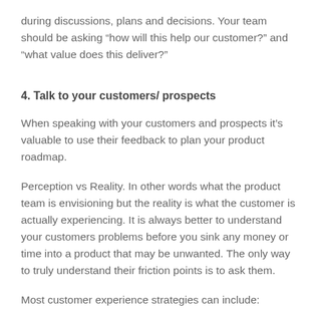during discussions, plans and decisions. Your team should be asking “how will this help our customer?” and “what value does this deliver?”
4. Talk to your customers/ prospects
When speaking with your customers and prospects it’s valuable to use their feedback to plan your product roadmap.
Perception vs Reality. In other words what the product team is envisioning but the reality is what the customer is actually experiencing. It is always better to understand your customers problems before you sink any money or time into a product that may be unwanted. The only way to truly understand their friction points is to ask them.
Most customer experience strategies can include: